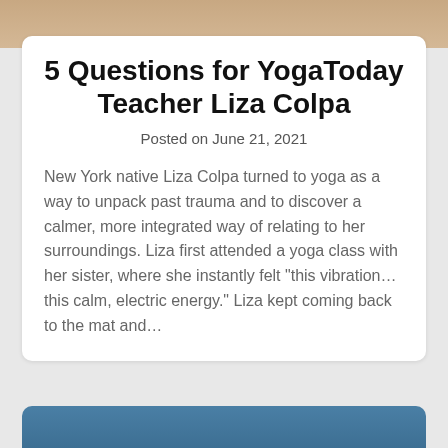[Figure (photo): Partial photo of a person at the top of the page, cropped]
5 Questions for YogaToday Teacher Liza Colpa
Posted on June 21, 2021
New York native Liza Colpa turned to yoga as a way to unpack past trauma and to discover a calmer, more integrated way of relating to her surroundings. Liza first attended a yoga class with her sister, where she instantly felt "this vibration… this calm, electric energy." Liza kept coming back to the mat and…
[Figure (photo): Blue banner/image at the bottom of the page, partially visible]